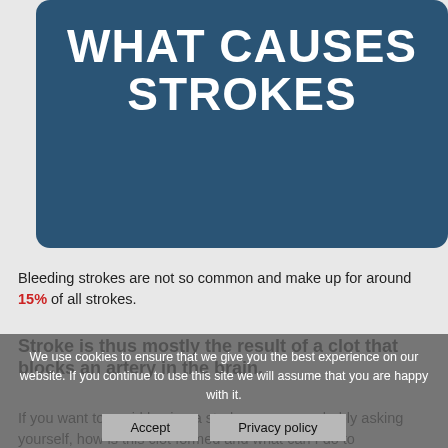WHAT CAUSES STROKES
Bleeding strokes are not so common and make up for around 15% of all strokes.
Stroke is thus mostly the result of a clot that blocks an artery in the brain.
If you want to avoid having a stroke you are probably asking yourself, how is this clot formed and what can I do to